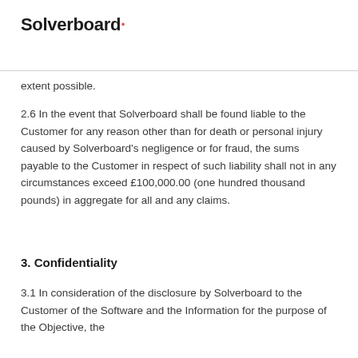Solverboard
extent possible.
2.6 In the event that Solverboard shall be found liable to the Customer for any reason other than for death or personal injury caused by Solverboard's negligence or for fraud, the sums payable to the Customer in respect of such liability shall not in any circumstances exceed £100,000.00 (one hundred thousand pounds) in aggregate for all and any claims.
3. Confidentiality
3.1 In consideration of the disclosure by Solverboard to the Customer of the Software and the Information for the purpose of the Objective, the